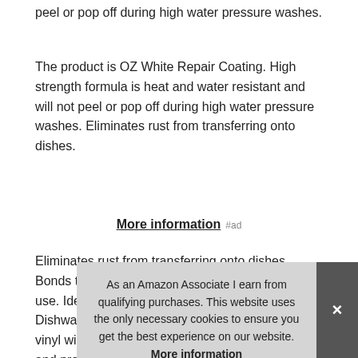peel or pop off during high water pressure washes.
The product is OZ White Repair Coating. High strength formula is heat and water resistant and will not peel or pop off during high water pressure washes. Eliminates rust from transferring onto dishes.
More information #ad
Eliminates rust from transferring onto dishes. Bonds to most pre-coated vinyl wire racks. Easy to use. Ideal for touching Up Rusted & Damaged Dishwasher Racks. Bonds to most pre-coated vinyl wire racks. Synthetic rubber coating will last and provide protection for years. Synthetic rubber coating will last and
As an Amazon Associate I earn from qualifying purchases. This website uses the only necessary cookies to ensure you get the best experience on our website. More information